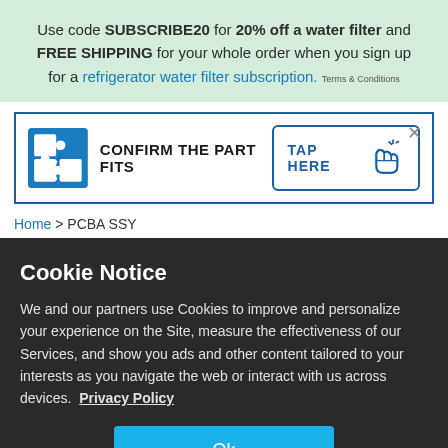Use code SUBSCRIBE20 for 20% off a water filter and FREE SHIPPING for your whole order when you sign up for a refrigerator water filter subscription. Terms & Conditions
[Figure (other): Banner with puzzle piece icon, text CONFIRM THE PART FITS, and a TAP HERE button with a hand cursor icon. A close (×) button is in the top right.]
Home > PCBA SSY
Cookie Notice
We and our partners use Cookies to improve and personalize your experience on the Site, measure the effectiveness of our Services, and show you ads and other content tailored to your interests as you navigate the web or interact with us across devices. Privacy Policy
Ok